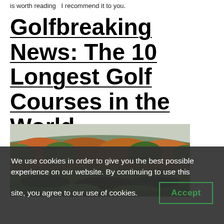is worth reading   I recommend it to you.
Golfbreaking News: The 10 Longest Golf Courses in the World
[Figure (photo): Aerial view of a golf course surrounded by autumn foliage trees with rolling hills in the background]
We use cookies in order to give you the best possible experience on our website. By continuing to use this site, you agree to our use of cookies.
Accept